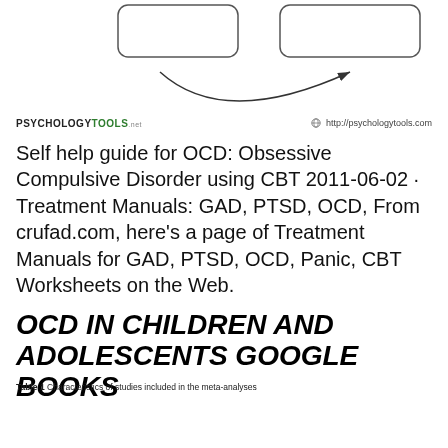[Figure (flowchart): Partial flowchart diagram showing two rounded rectangles at the top and a curved arrow at the bottom, part of a cycle/loop diagram]
PSYCHOLOGYTOOLS .net   http://psychologytools.com
Self help guide for OCD: Obsessive Compulsive Disorder using CBT 2011-06-02 · Treatment Manuals: GAD, PTSD, OCD, From crufad.com, here's a page of Treatment Manuals for GAD, PTSD, OCD, Panic, CBT Worksheets on the Web.
OCD IN CHILDREN AND ADOLESCENTS GOOGLE BOOKS
Table 1 Characteristics of studies included in the meta-analyses
| First author | Population ethnicity | Total sample (N) | Subjects receiving DCS/subjects receiving placebo | Male/female | Age (mean ± SD) | Subjects | Diagnostic tools |
| --- | --- | --- | --- | --- | --- | --- | --- |
| Kushner 2007 | – | 25 | (4/1) | – | – | Each subject with OCD received ten doses of 125 mg DCS or placebo | OCD diagnosed by Structured Clinical Interview for DSM-IV; at least DSM- |